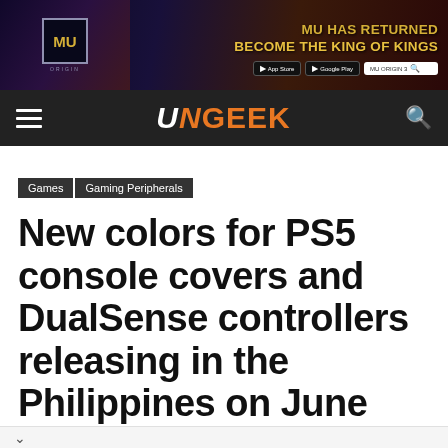[Figure (other): MU Origin 3 advertisement banner with dark fantasy game art, text 'MU HAS RETURNED BECOME THE KING OF KINGS', App Store and Google Play buttons]
UNGEEK navigation bar with hamburger menu and search icon
Games
Gaming Peripherals
New colors for PS5 console covers and DualSense controllers releasing in the Philippines on June